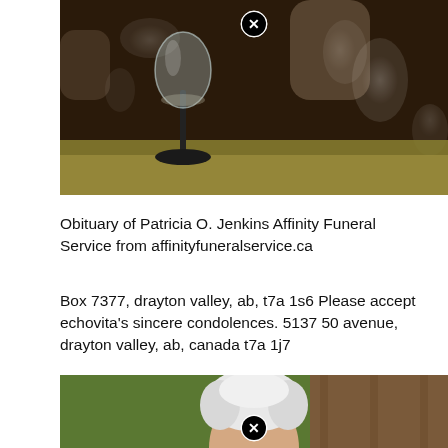[Figure (photo): Photo showing a wine glass on a table with dark floral background, with a circular close/X button overlay at top center]
Obituary of Patricia O. Jenkins Affinity Funeral Service from affinityfuneralservice.ca
Box 7377, drayton valley, ab, t7a 1s6 Please accept echovita's sincere condolences. 5137 50 avenue, drayton valley, ab, canada t7a 1j7
[Figure (photo): Photo showing an elderly person with white/grey hair, with a circular close/X button overlay at bottom center, cropped at bottom of page]